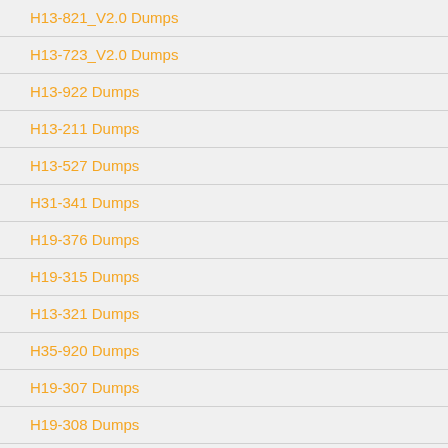H13-821_V2.0 Dumps
H13-723_V2.0 Dumps
H13-922 Dumps
H13-211 Dumps
H13-527 Dumps
H31-341 Dumps
H19-376 Dumps
H19-315 Dumps
H13-321 Dumps
H35-920 Dumps
H19-307 Dumps
H19-308 Dumps
H19-309 Dumps
H19-321 Dumps